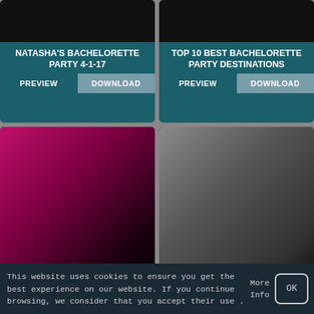[Figure (screenshot): Video thumbnail dark top for Natasha's Bachelorette Party card]
NATASHA'S BACHELORETTE PARTY 4-1-17
PREVIEW | DOWNLOAD
[Figure (screenshot): Video thumbnail dark top for Top 10 Best Bachelorette Party Destinations card]
TOP 10 BEST BACHELORETTE PARTY DESTINATIONS
PREVIEW | DOWNLOAD
[Figure (photo): Women dancing at a bachelorette party with pink/magenta lighting]
BEST BACHELORETTE PARTY EVER...
[Figure (photo): Two men smiling on a street, one in black shirt, one in white shirt]
EVERY BACHELORETTE PARTY IN NASHVILLE
This website uses cookies to ensure you get the best experience on our website. If you continue browsing, we consider that you accept their use .
More Info
OK